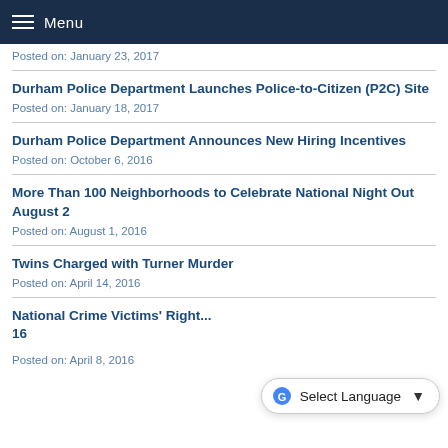Menu
Posted on: January 23, 2017
Durham Police Department Launches Police-to-Citizen (P2C) Site
Posted on: January 18, 2017
Durham Police Department Announces New Hiring Incentives
Posted on: October 6, 2016
More Than 100 Neighborhoods to Celebrate National Night Out August 2
Posted on: August 1, 2016
Twins Charged with Turner Murder
Posted on: April 14, 2016
National Crime Victims' Right... 16
Posted on: April 8, 2016